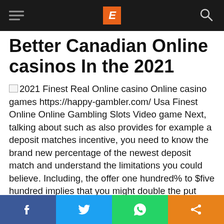E (logo)
Better Canadian Online casinos In the 2021
2021 Finest Real Online casino Online casino games https://happy-gambler.com/ Usa Finest Online Online Gambling Slots Video game Next, talking about such as also provides for example a deposit matches incentive, you need to know the brand new percentage of the newest deposit match and understand the limitations you could believe. Including, the offer one hundred% to $five hundred implies that you might double the put (due to a hundred%), nevertheless quantity of their incentive is not any over $five-hundred. On
f  [Twitter bird]  [WhatsApp]  [Share]